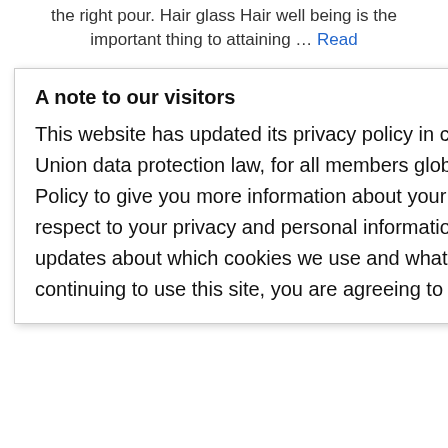the right pour. Hair glass Hair well being is the important thing to attaining … Read more
A note to our visitors
This website has updated its privacy policy in compliance with changes to European Union data protection law, for all members globally. We've also updated our Privacy Policy to give you more information about your rights and responsibilities with respect to your privacy and personal information. Please read this to review the updates about which cookies we use and what information we collect on our site. By continuing to use this site, you are agreeing to our updated privacy policy.
[Figure (screenshot): I agree button - dark grey rectangle with white text 'I agree']
BEAUTY
cosmetics, cream, emulsion, formula, formulation, fragrances, hair, hair care, household products, ingredients, natural
shampoo,
skin, skin care, stability, sun care, sunscreen,
surfactant, test, toiletries, wipes
Leave a comment